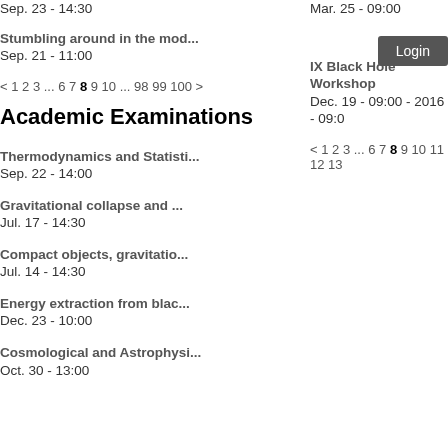Sep. 23 - 14:30
Mar. 25 - 09:00
Stumbling around in the mod...
Sep. 21 - 11:00
IX Black Hole Workshop
Dec. 19 - 09:00 - 2016 - 09:0
< 1 2 3 ... 6 7 8 9 10 ... 98 99 100 >
< 1 2 3 ... 6 7 8 9 10 11 12 13
Academic Examinations
Thermodynamics and Statisti...
Sep. 22 - 14:00
Gravitational collapse and ...
Jul. 17 - 14:30
Compact objects, gravitatio...
Jul. 14 - 14:30
Energy extraction from blac...
Dec. 23 - 10:00
Cosmological and Astrophysi...
Oct. 30 - 13:00